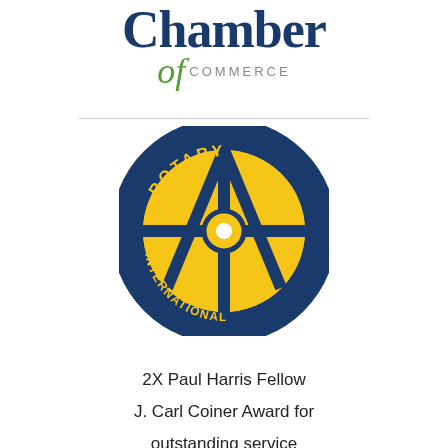[Figure (logo): Chamber of Commerce logo with blue bold text 'Chamber' and italic green script 'of' with gray uppercase 'COMMERCE']
[Figure (logo): Rotary International gear/wheel logo in yellow and navy blue with 'ROTARY' on top band and 'INTERNATIONAL' on bottom band]
2X Paul Harris Fellow
J. Carl Coiner Award for outstanding service